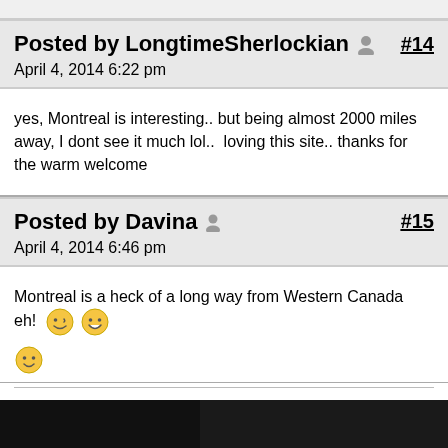Posted by LongtimeSherlockian  #14
April 4, 2014 6:22 pm
yes, Montreal is interesting.. but being almost 2000 miles away, I dont see it much lol..  loving this site.. thanks for the warm welcome
Posted by Davina  #15
April 4, 2014 6:46 pm
Montreal is a heck of a long way from Western Canada eh! 😊😃
😊
----------------------------------------------------------------------------------------------------
----------------------------------------
Don't make people into heroes John. Heroes don't exist and if they did I wouldn't be one of them.
[Figure (photo): Partial image of a person visible at the bottom of the page]